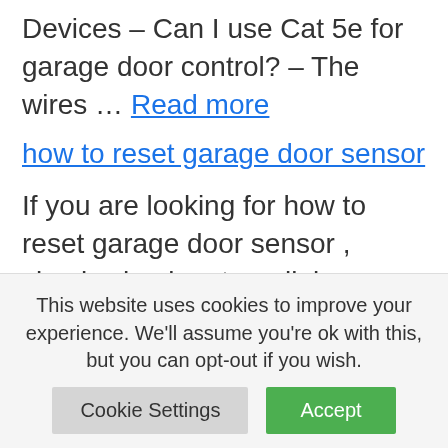Devices – Can I use Cat 5e for garage door control? – The wires … Read more
how to reset garage door sensor
If you are looking for how to reset garage door sensor , simply check out our links below: Garage Door Safety Sensors Troubleshooting – Complete 3 Step … 20 Jun 2020 … Replacement Safety Sensors: https://amzn.to/2YUuWGvA very
This website uses cookies to improve your experience. We'll assume you're ok with this, but you can opt-out if you wish.